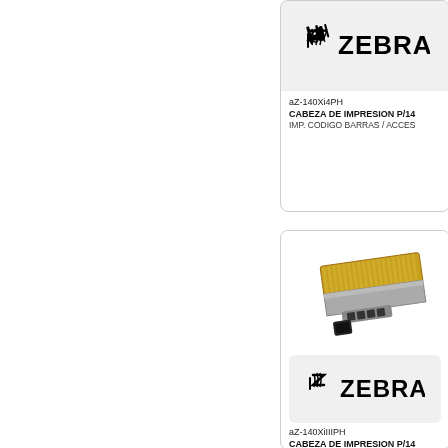[Figure (logo): Zebra Technologies logo in a rounded rectangle box at top right]
aZ-140Xi4PH
CABEZA DE IMPRESION P/14
IMP. CODIGO BARRAS / ACCES
[Figure (photo): Photo of a Zebra printhead component - metallic rectangular print head assembly with gold and silver colored parts]
[Figure (logo): Zebra Technologies logo in a rounded rectangle box at bottom right]
aZ-140XiIIIPH
CABEZA DE IMPRESION P/14 PIEZAS*
IMP. CODIGO BARRAS / ACCES